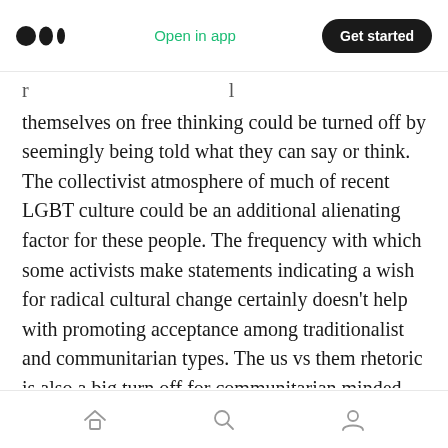Medium app header — logo, Open in app, Get started
themselves on free thinking could be turned off by seemingly being told what they can say or think. The collectivist atmosphere of much of recent LGBT culture could be an additional alienating factor for these people. The frequency with which some activists make statements indicating a wish for radical cultural change certainly doesn't help with promoting acceptance among traditionalist and communitarian types. The us vs them rhetoric is also a big turn off for communitarian minded people in general. The overall truth is, the
Navigation bar with home, search, and profile icons